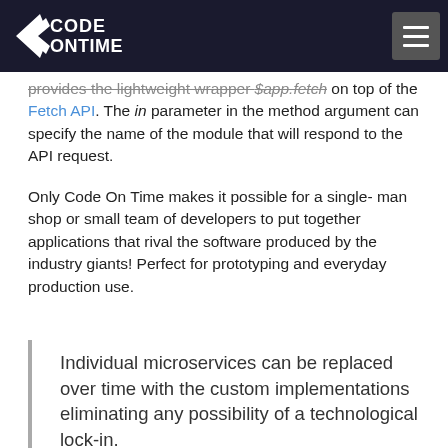Code On Time
provides the lightweight wrapper $app.fetch on top of the Fetch API. The in parameter in the method argument can specify the name of the module that will respond to the API request.
Only Code On Time makes it possible for a single-man shop or small team of developers to put together applications that rival the software produced by the industry giants! Perfect for prototyping and everyday production use.
Individual microservices can be replaced over time with the custom implementations eliminating any possibility of a technological lock-in.